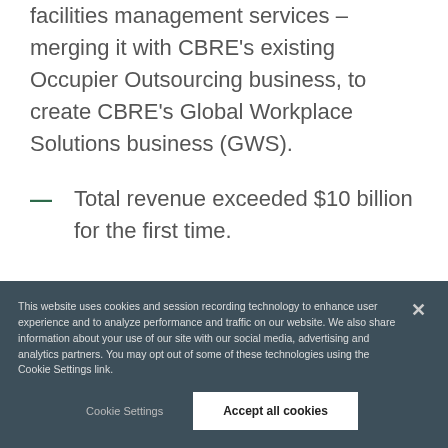facilities management services – merging it with CBRE's existing Occupier Outsourcing business, to create CBRE's Global Workplace Solutions business (GWS).
Total revenue exceeded $10 billion for the first time.
CBRE was ranked #2 (out of 500 companies)
This website uses cookies and session recording technology to enhance user experience and to analyze performance and traffic on our website. We also share information about your use of our site with our social media, advertising and analytics partners. You may opt out of some of these technologies using the Cookie Settings link.